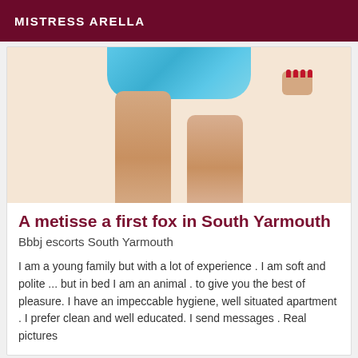MISTRESS ARELLA
[Figure (photo): Cropped photo of a woman's legs and lower body wearing blue shorts and a striped shirt, with red painted fingernails visible on her hip]
A metisse a first fox in South Yarmouth
Bbbj escorts South Yarmouth
I am a young family but with a lot of experience . I am soft and polite ... but in bed I am an animal . to give you the best of pleasure. I have an impeccable hygiene, well situated apartment . I prefer clean and well educated. I send messages . Real pictures